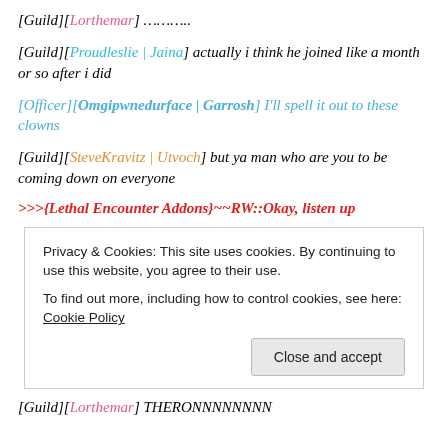[Guild][Lorthemar] ………..
[Guild][Proudleslie | Jaina] actually i think he joined like a month or so after i did
[Officer][Omgipwnedurface | Garrosh] I'll spell it out to these clowns
[Guild][SteveKravitz | Utvoch] but ya man who are you to be coming down on everyone
>>>{Lethal Encounter Addons}~~RW::Okay, listen up
Privacy & Cookies: This site uses cookies. By continuing to use this website, you agree to their use. To find out more, including how to control cookies, see here: Cookie Policy
[Guild][Lorthemar] THERONNNNNNNN